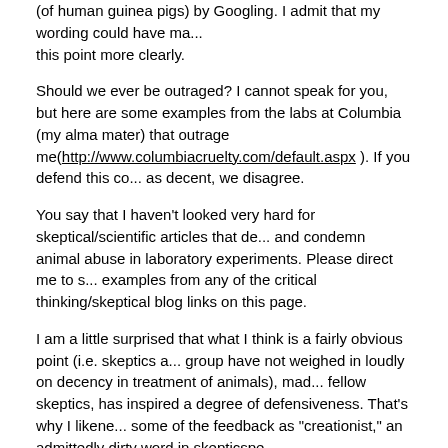(of human guinea pigs) by Googling. I admit that my wording could have made this point more clearly.
Should we ever be outraged? I cannot speak for you, but here are some examples from the labs at Columbia (my alma mater) that outrage me(http://www.columbiacruelty.com/default.aspx ). If you defend this co... as decent, we disagree.
You say that I haven't looked very hard for skeptical/scientific articles that de... and condemn animal abuse in laboratory experiments. Please direct me to s... examples from any of the critical thinking/skeptical blog links on this page.
I am a little surprised that what I think is a fairly obvious point (i.e. skeptics a... group have not weighed in loudly on decency in treatment of animals), mad... fellow skeptics, has inspired a degree of defensiveness. That's why I likene... some of the feedback as "creationist," an admittedly dirty word in skepticspe...
Posted by: ThirdChimp | December 23, 2007 at 11:12 PM
A downside, as I see it, is frequent criticism of animal rights (and its activists), but few calls for "decency" in the treatment of animals.
Which is not what you said originally:
but so rarely takes a public stand on general decency.